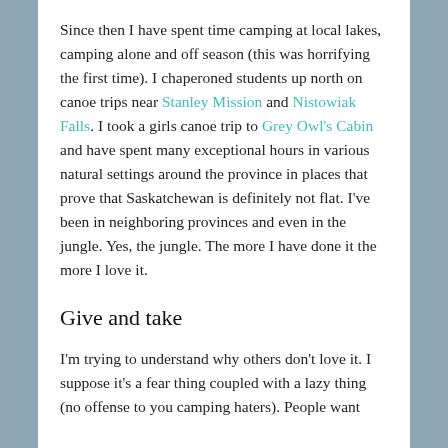Since then I have spent time camping at local lakes, camping alone and off season (this was horrifying the first time). I chaperoned students up north on canoe trips near Stanley Mission and Nistowiak Falls. I took a girls canoe trip to Grey Owl's Cabin and have spent many exceptional hours in various natural settings around the province in places that prove that Saskatchewan is definitely not flat. I've been in neighboring provinces and even in the jungle. Yes, the jungle. The more I have done it the more I love it.
Give and take
I'm trying to understand why others don't love it. I suppose it's a fear thing coupled with a lazy thing (no offense to you camping haters). People want